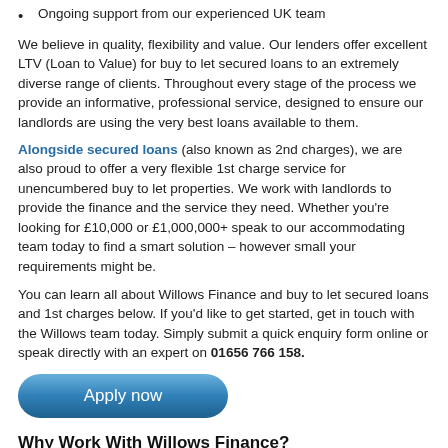Ongoing support from our experienced UK team
We believe in quality, flexibility and value. Our lenders offer excellent LTV (Loan to Value) for buy to let secured loans to an extremely diverse range of clients. Throughout every stage of the process we provide an informative, professional service, designed to ensure our landlords are using the very best loans available to them.
Alongside secured loans (also known as 2nd charges), we are also proud to offer a very flexible 1st charge service for unencumbered buy to let properties. We work with landlords to provide the finance and the service they need. Whether you're looking for £10,000 or £1,000,000+ speak to our accommodating team today to find a smart solution – however small your requirements might be.
You can learn all about Willows Finance and buy to let secured loans and 1st charges below. If you'd like to get started, get in touch with the Willows team today. Simply submit a quick enquiry form online or speak directly with an expert on 01656 766 158.
[Figure (other): Apply now button - blue rounded rectangle button with white text]
Why Work With Willows Finance?